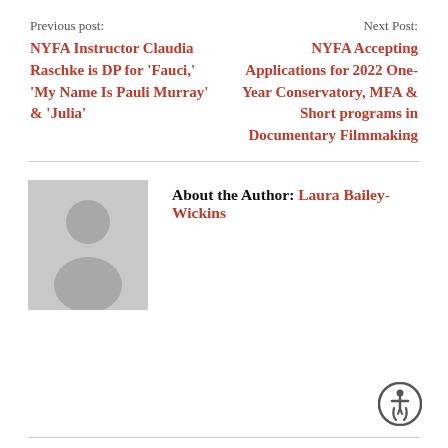Previous post:
NYFA Instructor Claudia Raschke is DP for ‘Fauci,’ ‘My Name Is Pauli Murray’ & ‘Julia’
Next Post:
NYFA Accepting Applications for 2022 One-Year Conservatory, MFA & Short programs in Documentary Filmmaking
[Figure (illustration): Gray placeholder avatar image of a person silhouette]
About the Author: Laura Bailey-Wickins